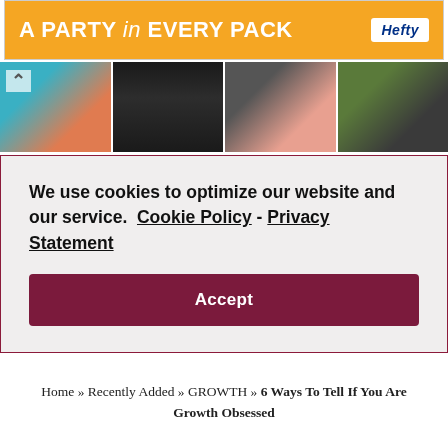[Figure (screenshot): Orange Hefty advertisement banner reading 'A PARTY in EVERY PACK' with Hefty logo]
[Figure (photo): Horizontal strip of four photos showing women's hair styles and haircare]
We use cookies to optimize our website and our service.  Cookie Policy  -  Privacy Statement
Accept
Home » Recently Added » GROWTH » 6 Ways To Tell If You Are Growth Obsessed